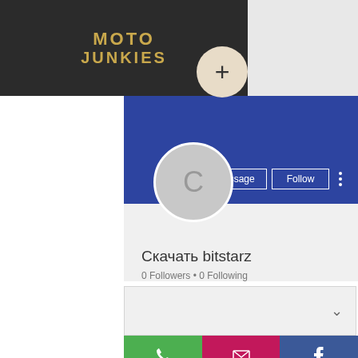[Figure (screenshot): Moto Junkies app header with dark background and gold logo text]
MOTO JUNKIES
[Figure (screenshot): Social profile page showing avatar with letter C, Message and Follow buttons, username Скачать bitstarz, 0 Followers 0 Following, expand chevron, and bottom action bar with phone, email, and Facebook icons]